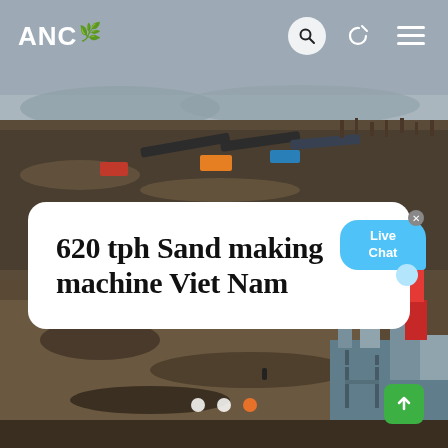[Figure (photo): Aerial/drone view of a large open-pit mining or quarry site with conveyor belts, construction equipment, and industrial machinery. Dark sandy terrain with sparse trees in the background. Blue-grey hazy sky. Lower right corner shows industrial sand-making or processing plant structure.]
ANC
620 tph Sand making machine Viet Nam
[Figure (other): Live Chat speech bubble icon in light blue with white text 'Live Chat' and an 'x' close button in grey.]